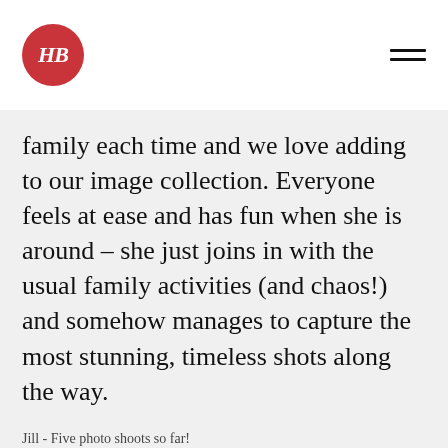HB [logo] [hamburger menu]
family each time and we love adding to our image collection. Everyone feels at ease and has fun when she is around – she just joins in with the usual family activities (and chaos!) and somehow manages to capture the most stunning, timeless shots along the way.
Jill - Five photo shoots so far!